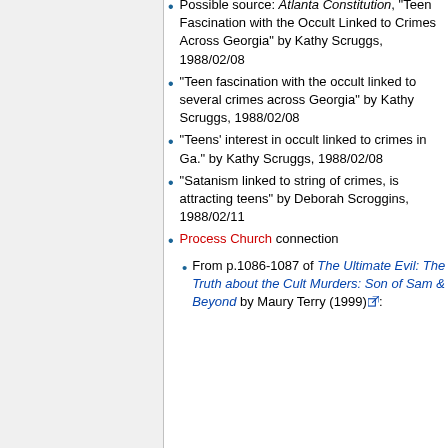Possible source: Atlanta Constitution, "Teen Fascination with the Occult Linked to Crimes Across Georgia" by Kathy Scruggs, 1988/02/08
"Teen fascination with the occult linked to several crimes across Georgia" by Kathy Scruggs, 1988/02/08
"Teens' interest in occult linked to crimes in Ga." by Kathy Scruggs, 1988/02/08
"Satanism linked to string of crimes, is attracting teens" by Deborah Scroggins, 1988/02/11
Process Church connection
From p.1086-1087 of The Ultimate Evil: The Truth about the Cult Murders: Son of Sam & Beyond by Maury Terry (1999):